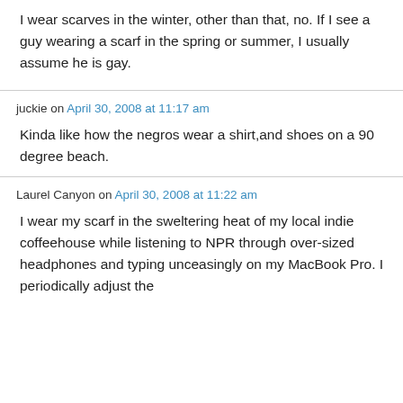I wear scarves in the winter, other than that, no. If I see a guy wearing a scarf in the spring or summer, I usually assume he is gay.
juckie on April 30, 2008 at 11:17 am
Kinda like how the negros wear a shirt,and shoes on a 90 degree beach.
Laurel Canyon on April 30, 2008 at 11:22 am
I wear my scarf in the sweltering heat of my local indie coffeehouse while listening to NPR through over-sized headphones and typing unceasingly on my MacBook Pro. I periodically adjust the